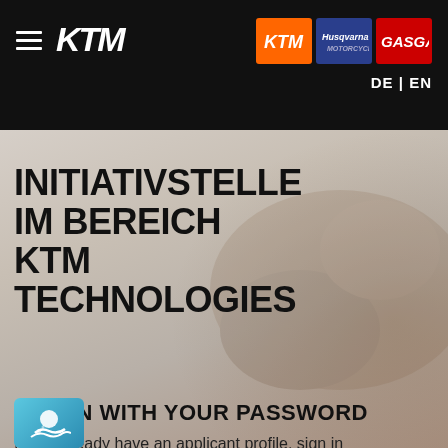KTM — DE | EN header with brand icons (KTM, Husqvarna, GASGAS)
INITIATIVSTELLE IM BEREICH KTM TECHNOLOGIES
LOG IN WITH YOUR PASSWORD
If you already have an applicant profile, sign in with your credentials.
[Figure (illustration): Partial view of a login button with light blue background and wave/splash icon]